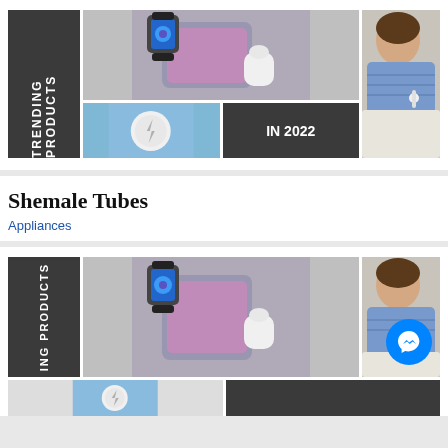[Figure (infographic): Trending Products In 2022 collage: dark grey panel with vertical white bold text 'TRENDING PRODUCTS', center column with Apple Watch and wireless charger product photos, dark square with 'IN 2022' text in white, right column with woman wearing earbuds in blue sweater]
Shemale Tubes
Appliances
[Figure (infographic): Second partial repetition of Trending Products collage at bottom of page: same layout partially visible, with dark panel showing partial 'ING PRODUCTS' vertical text, center product photos of Apple Watch charger, right column woman photo with blue Messenger chat bubble icon overlay]